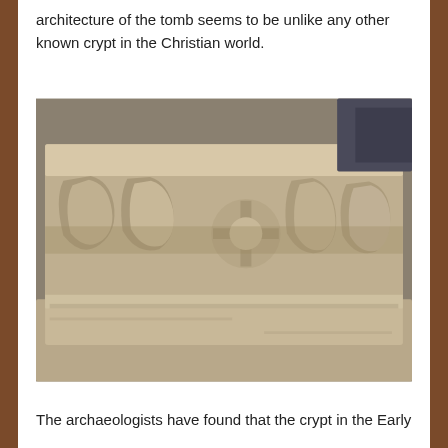architecture of the tomb seems to be unlike any other known crypt in the Christian world.
[Figure (photo): A carved stone architectural fragment with decorative relief carvings, possibly ancient inscriptions or decorative motifs, resting on another stone block outdoors.]
The archaeologists have found that the crypt in the Early